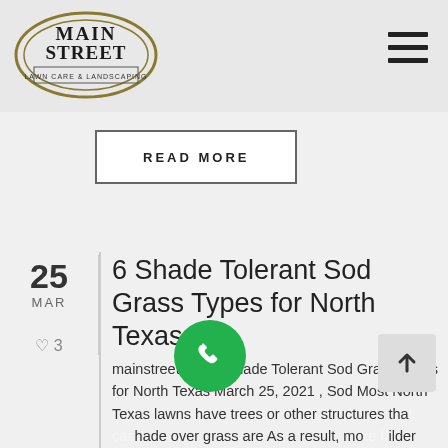[Figure (logo): Main Street Lawn Care & Landscaping logo — oval shape with company name]
READ MORE
25
MAR
♥ 3
6 Shade Tolerant Sod Grass Types for North Texas
mainstreetlawn 6 Shade Tolerant Sod Grass Types for North Texas March 25, 2021 , Sod Most North Texas lawns have trees or other structures that shade over grass are As a result, most builder installed sods will offer some degree of shade tolerance...